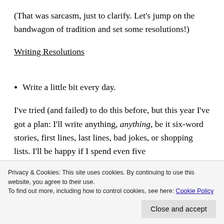(That was sarcasm, just to clarify. Let's jump on the bandwagon of tradition and set some resolutions!)
Writing Resolutions
Write a little bit every day.
I've tried (and failed) to do this before, but this year I've got a plan: I'll write anything, anything, be it six-word stories, first lines, last lines, bad jokes, or shopping lists. I'll be happy if I spend even five
Privacy & Cookies: This site uses cookies. By continuing to use this website, you agree to their use.
To find out more, including how to control cookies, see here: Cookie Policy
Close and accept